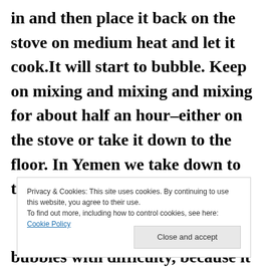in and then place it back on the stove on medium heat and let it cook.It will start to bubble. Keep on mixing and mixing and mixing for about half an hour–either on the stove or take it down to the floor. In Yemen we take down to the floor. Add a
Privacy & Cookies: This site uses cookies. By continuing to use this website, you agree to their use. To find out more, including how to control cookies, see here: Cookie Policy
bubbles with difficulty, because it